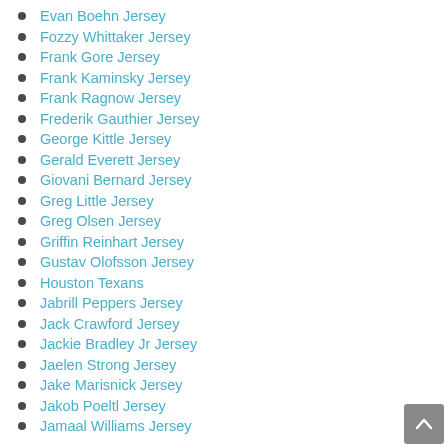Evan Boehn Jersey
Fozzy Whittaker Jersey
Frank Gore Jersey
Frank Kaminsky Jersey
Frank Ragnow Jersey
Frederik Gauthier Jersey
George Kittle Jersey
Gerald Everett Jersey
Giovani Bernard Jersey
Greg Little Jersey
Greg Olsen Jersey
Griffin Reinhart Jersey
Gustav Olofsson Jersey
Houston Texans
Jabrill Peppers Jersey
Jack Crawford Jersey
Jackie Bradley Jr Jersey
Jaelen Strong Jersey
Jake Marisnick Jersey
Jakob Poeltl Jersey
Jamaal Williams Jersey